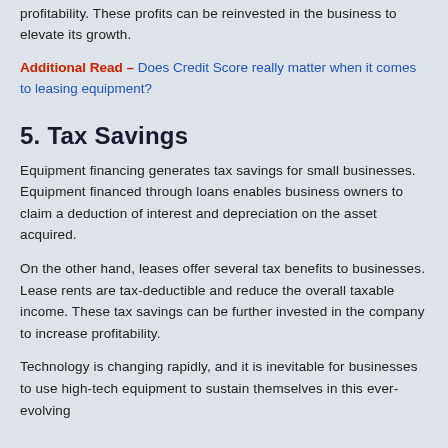profitability. These profits can be reinvested in the business to elevate its growth.
Additional Read – Does Credit Score really matter when it comes to leasing equipment?
5. Tax Savings
Equipment financing generates tax savings for small businesses. Equipment financed through loans enables business owners to claim a deduction of interest and depreciation on the asset acquired.
On the other hand, leases offer several tax benefits to businesses. Lease rents are tax-deductible and reduce the overall taxable income. These tax savings can be further invested in the company to increase profitability.
Technology is changing rapidly, and it is inevitable for businesses to use high-tech equipment to sustain themselves in this ever-evolving